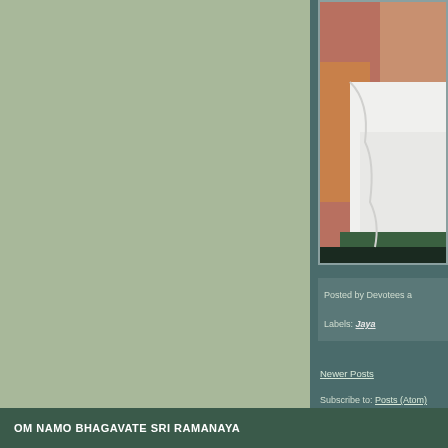[Figure (photo): Partial view of a person in white clothing with colorful fabric background, cropped at right edge of page]
Posted by Devotees a
Labels: Jaya
Newer Posts
Subscribe to: Posts (Atom)
OM NAMO BHAGAVATE SRI RAMANAYA